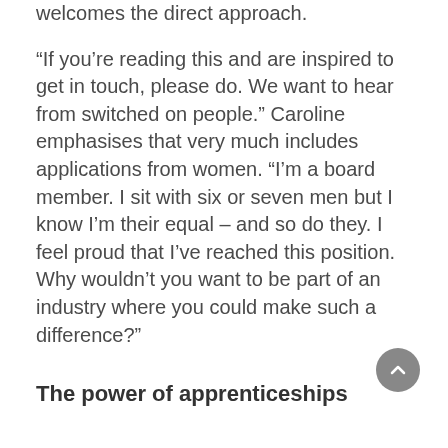welcomes the direct approach.
“If you’re reading this and are inspired to get in touch, please do. We want to hear from switched on people.” Caroline emphasises that very much includes applications from women. “I’m a board member. I sit with six or seven men but I know I’m their equal – and so do they. I feel proud that I’ve reached this position. Why wouldn’t you want to be part of an industry where you could make such a difference?”
The power of apprenticeships